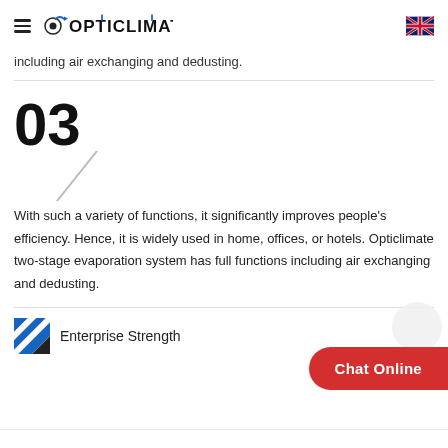OPTICLIMATE
including air exchanging and dedusting.
03
With such a variety of functions, it significantly improves people's efficiency. Hence, it is widely used in home, offices, or hotels. Opticlimate two-stage evaporation system has full functions including air exchanging and dedusting.
Enterprise Strength